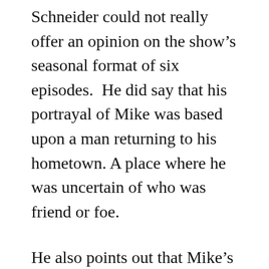Schneider could not really offer an opinion on the show's seasonal format of six episodes.  He did say that his portrayal of Mike was based upon a man returning to his hometown. A place where he was uncertain of who was friend or foe.
He also points out that Mike's relationship with his mother is very chilly. The character is also one who left small town life and became quite successful. Apart from returning to the scene of the crime, Mike is back amongst people who resent his success.